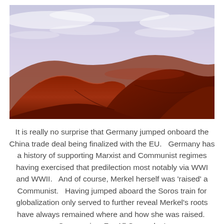[Figure (photo): Photograph of red/orange sand dunes under a cloudy sky with purplish-blue hues]
It is really no surprise that Germany jumped onboard the China trade deal being finalized with the EU.   Germany has a history of supporting Marxist and Communist regimes having exercised that predilection most notably via WWI and WWII.   And of course, Merkel herself was 'raised' a Communist.   Having jumped aboard the Soros train for globalization only served to further reveal Merkel's roots have always remained where and how she was raised.  Communism For All Comrades!